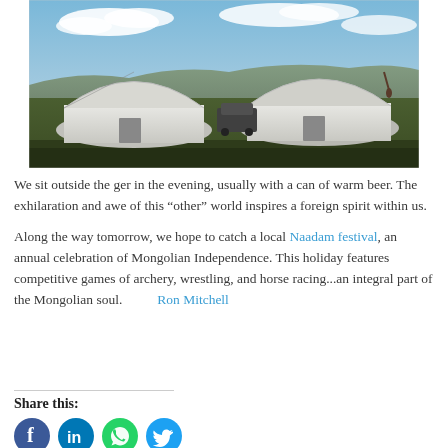[Figure (photo): Two white traditional Mongolian ger (yurts) on a green grassy plain with a vehicle parked between them and rolling hills under a partly cloudy blue sky in the background.]
We sit outside the ger in the evening, usually with a can of warm beer. The exhilaration and awe of this “other” world inspires a foreign spirit within us.
Along the way tomorrow, we hope to catch a local Naadam festival, an annual celebration of Mongolian Independence. This holiday features competitive games of archery, wrestling, and horse racing...an integral part of the Mongolian soul.      Ron Mitchell
Share this: